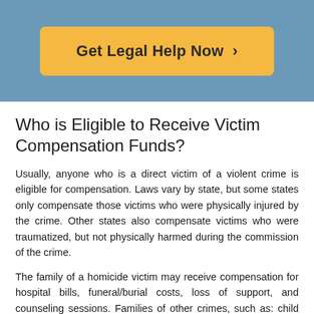[Figure (other): Blue banner with yellow/orange 'Get Legal Help Now >' call-to-action button]
Who is Eligible to Receive Victim Compensation Funds?
Usually, anyone who is a direct victim of a violent crime is eligible for compensation. Laws vary by state, but some states only compensate those victims who were physically injured by the crime. Other states also compensate victims who were traumatized, but not physically harmed during the commission of the crime.
The family of a homicide victim may receive compensation for hospital bills, funeral/burial costs, loss of support, and counseling sessions. Families of other crimes, such as: child abuse, domestic violence, and sexual assault may also receive compensation for